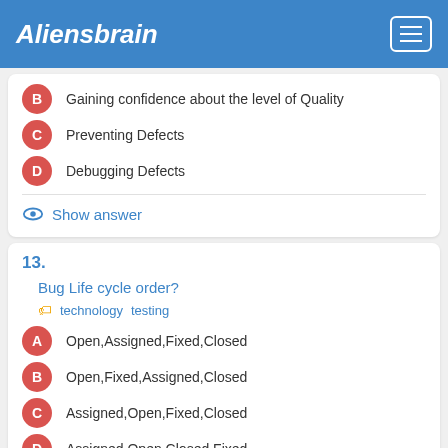Aliensbrain
B  Gaining confidence about the level of Quality
C  Preventing Defects
D  Debugging Defects
Show answer
13.
Bug Life cycle order?
technology  testing
A  Open,Assigned,Fixed,Closed
B  Open,Fixed,Assigned,Closed
C  Assigned,Open,Fixed,Closed
D  Assigned,Open,Closed,Fixed
Show answer